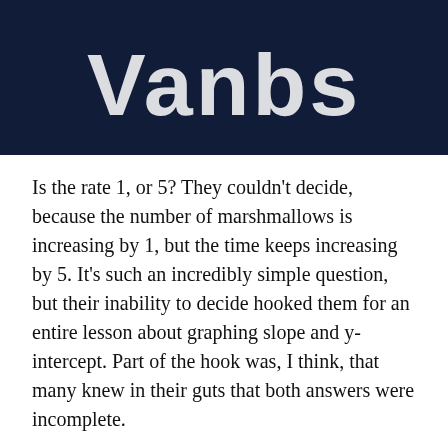[Figure (illustration): Dark navy blue banner with large white bold text partially visible, appearing to be a logo or title graphic]
Is the rate 1, or 5? They couldn't decide, because the number of marshmallows is increasing by 1, but the time keeps increasing by 5. It's such an incredibly simple question, but their inability to decide hooked them for an entire lesson about graphing slope and y-intercept. Part of the hook was, I think, that many knew in their guts that both answers were incomplete.
I'd bet these students would have gotten the correct rate back in 7th grade. But as you know, students sometimes over-complicate...